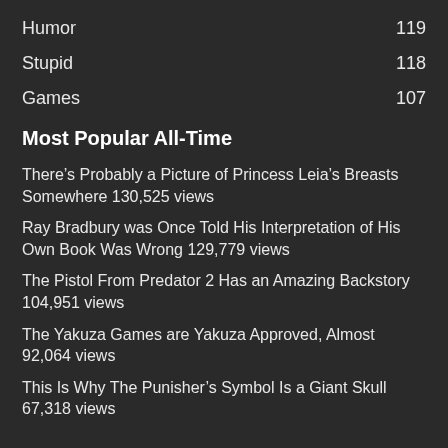Humor 119
Stupid 118
Games 107
Most Popular All-Time
There’s Probably a Picture of Princess Leia’s Breasts Somewhere 130,525 views
Ray Bradbury was Once Told His Interpretation of His Own Book Was Wrong 129,779 views
The Pistol From Predator 2 Has an Amazing Backstory 104,951 views
The Yakuza Games are Yakuza Approved, Almost 92,064 views
This Is Why The Punisher’s Symbol Is a Giant Skull 67,318 views